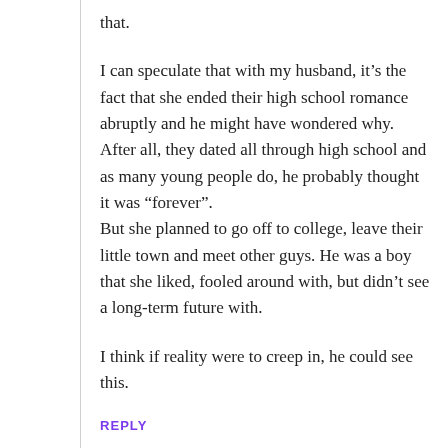that.
I can speculate that with my husband, it’s the fact that she ended their high school romance abruptly and he might have wondered why.
After all, they dated all through high school and as many young people do, he probably thought it was “forever”.
But she planned to go off to college, leave their little town and meet other guys. He was a boy that she liked, fooled around with, but didn’t see a long-term future with.
I think if reality were to creep in, he could see this.
REPLY